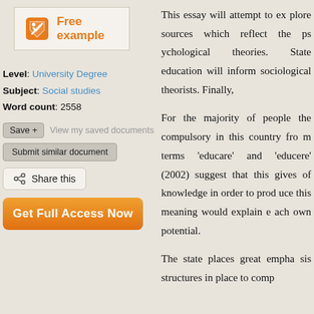[Figure (logo): Free example badge with tag icon in orange]
Level: University Degree
Subject: Social studies
Word count: 2558
Save + View my saved documents
Submit similar document
Share this
Get Full Access Now
This essay will attempt to ex... sources which reflect the ps... theories. State education will... sociological theorists. Finally,

For the majority of people the... compulsory in this country fr... terms 'educare' and 'educere... (2002) suggest that this gives... of knowledge in order to prod... this meaning would explain e... own potential.

The state places great emph... structures in place to com...